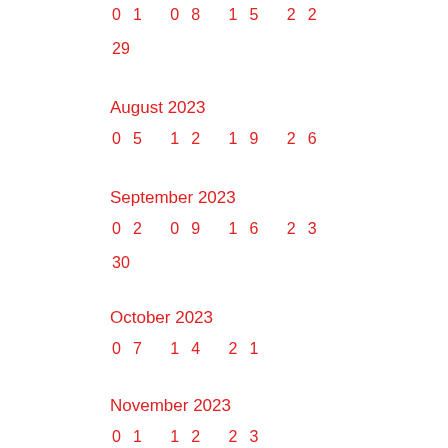01  08  15  22
29
August 2023
05  12  19  26
September 2023
02  09  16  23
30
October 2023
07  14  21
November 2023
01  12  23